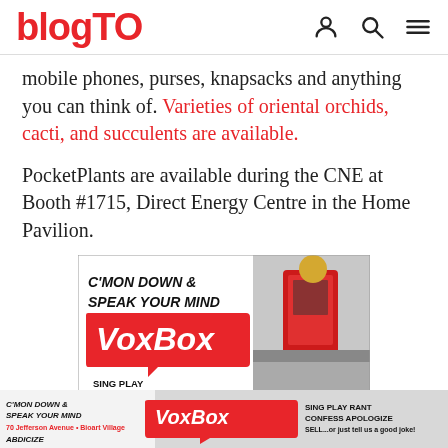blogTO
mobile phones, purses, knapsacks and anything you can think of. Varieties of oriental orchids, cacti, and succulents are available.
PocketPlants are available during the CNE at Booth #1715, Direct Energy Centre in the Home Pavilion.
[Figure (photo): VoxBox advertisement showing a red phone booth-style kiosk with text 'C'MON DOWN & SPEAK YOUR MIND VoxBox SING PLAY RANT CONFESS APOLOGIZE SELL...or just tell us a good joke!']
[Figure (photo): Repeated VoxBox banner advertisement at the bottom of the page]